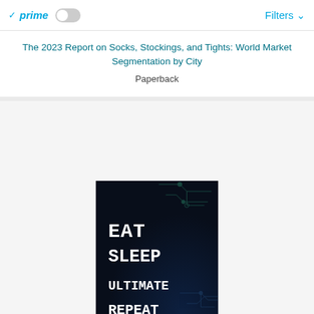prime | Filters
The 2023 Report on Socks, Stockings, and Tights: World Market Segmentation by City
Paperback
[Figure (photo): Book cover with dark blue/black background showing circuit board lines and text: EAT SLEEP ULTIMATE REPEAT in white bold monospace font]
Jeffery Watkins
Thank You Gifts for Women Men: Eat Sleep Ultimate Repeat - Funny Frisbee Pretty: Ultimate, Notebook - Appreciation Gifts for..